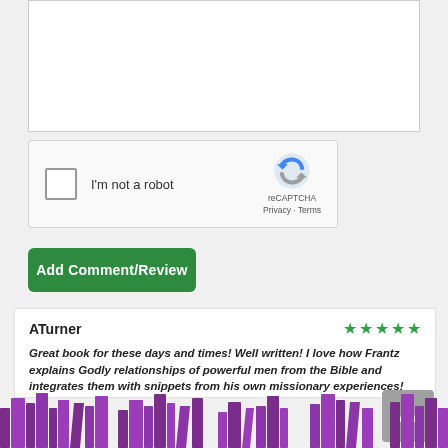[Figure (screenshot): Empty text area input box with white background and light gray border]
[Figure (screenshot): reCAPTCHA widget with checkbox, 'I'm not a robot' label, and reCAPTCHA logo with Privacy and Terms links]
Add Comment/Review
ATurner
Great book for these days and times! Well written! I love how Frantz explains Godly relationships of powerful men from the Bible and integrates them with snippets from his own missionary experiences!
[Figure (illustration): Purple illustrated bookshelf footer graphic with stacked books]